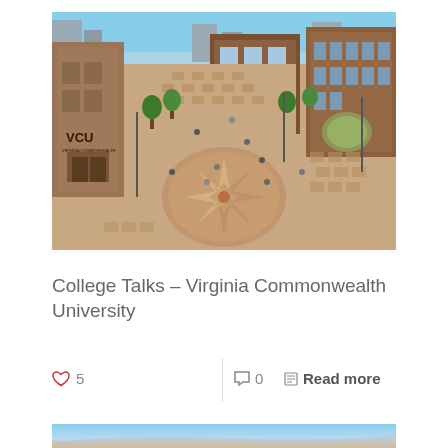[Figure (photo): Aerial view of Virginia Commonwealth University (VCU) campus showing the main plaza with a compass rose design on the ground, brick buildings, and students walking around. A building on the left has 'VCU' written on it.]
College Talks – Virginia Commonwealth University
♡ 5   |   ○ 0   Read more
[Figure (photo): Partial view of another campus or landscape photo at the bottom, showing sky and horizon.]